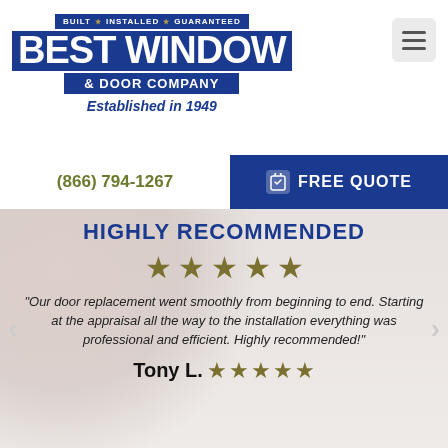[Figure (logo): Best Window & Door Company logo — blue background with 'BUILT ★ INSTALLED ★ GUARANTEED' at top, large 'BEST WINDOW' text, '& DOOR COMPANY' banner, 'Established in 1949' italic text below]
(866) 794-1267
FREE QUOTE
HIGHLY RECOMMENDED
★★★★★
"Our door replacement went smoothly from beginning to end. Starting at the appraisal all the way to the installation everything was professional and efficient. Highly recommended!"
Tony L. ★★★★★